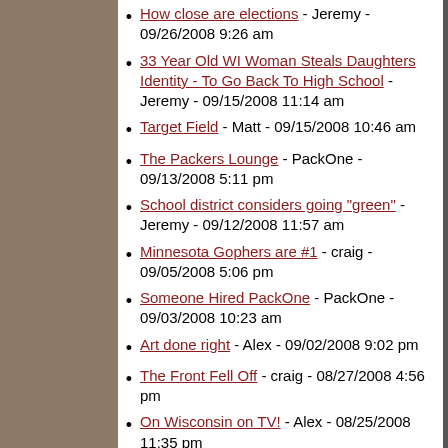How close are elections - Jeremy - 09/26/2008 9:26 am
33 Year Old WI Woman Steals Daughters Identity - To Go Back To High School - Jeremy - 09/15/2008 11:14 am
Target Field - Matt - 09/15/2008 10:46 am
The Packers Lounge - PackOne - 09/13/2008 5:11 pm
School district considers going "green" - Jeremy - 09/12/2008 11:57 am
Minnesota Gophers are #1 - craig - 09/05/2008 5:06 pm
Someone Hired PackOne - PackOne - 09/03/2008 10:23 am
Art done right - Alex - 09/02/2008 9:02 pm
The Front Fell Off - craig - 08/27/2008 4:56 pm
On Wisconsin on TV! - Alex - 08/25/2008 11:35 pm
Sorry kid, this league is for bad players